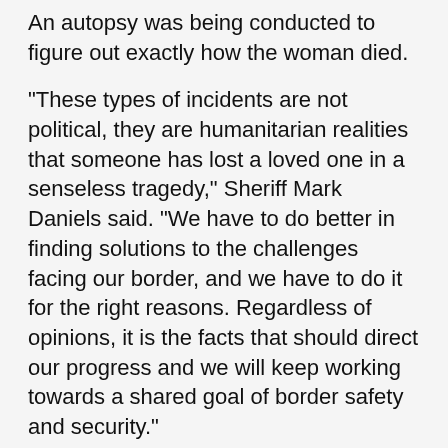An autopsy was being conducted to figure out exactly how the woman died.
"These types of incidents are not political, they are humanitarian realities that someone has lost a loved one in a senseless tragedy," Sheriff Mark Daniels said. "We have to do better in finding solutions to the challenges facing our border, and we have to do it for the right reasons. Regardless of opinions, it is the facts that should direct our progress and we will keep working towards a shared goal of border safety and security."
In a statement, Customs and Border Protection told ABC News the incident is under investigation.
"On April 11, 2022, Tucson Sector Agents received information from the emergency services dispatch in Nogales, Sonora, Mexico of an incident approximately 10 miles west of the Douglas Port of Entry at the International Boundary Barrier," a CBP spokesman told